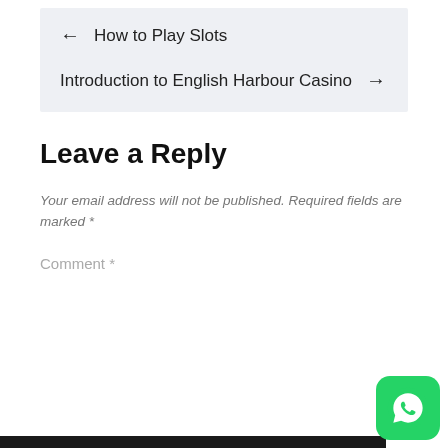← How to Play Slots
Introduction to English Harbour Casino →
Leave a Reply
Your email address will not be published. Required fields are marked *
Comment *